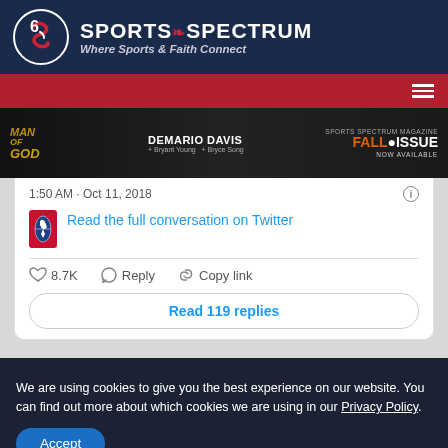SPORTS SPECTRUM — Where Sports & Faith Connect
[Figure (screenshot): Sports Spectrum website screenshot showing header with logo, navigation bar with hamburger menu, an advertisement banner for 'Man of God' featuring DeMario Davis with Sports Spectrum Magazine Fall Issue, and a Twitter/X embed showing '1:50 AM · Oct 11, 2018', NBA logo with 'Read the full conversation on Twitter', 8.7K likes, Reply, Copy link actions, and 'Read 119 replies' button]
We are using cookies to give you the best experience on our website. You can find out more about which cookies we are using in our Privacy Policy.
Accept